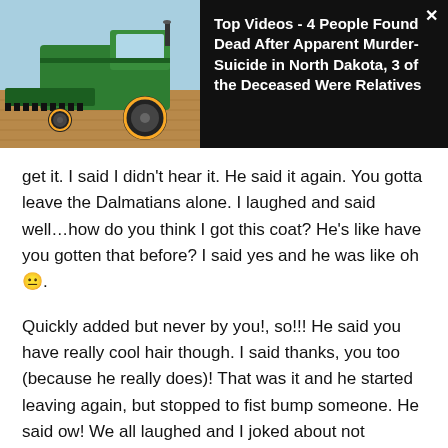[Figure (photo): Green combine harvester (John Deere) working in a field under a light blue sky, with a dark toolbar/header overlay.]
Top Videos - 4 People Found Dead After Apparent Murder-Suicide in North Dakota, 3 of the Deceased Were Relatives
get it. I said I didn't hear it. He said it again. You gotta leave the Dalmatians alone. I laughed and said well...how do you think I got this coat? He's like have you gotten that before? I said yes and he was like oh 😐.
Quickly added but never by you!, so!!! He said you have really cool hair though. I said thanks, you too (because he really does)! That was it and he started leaving again, but stopped to fist bump someone. He said ow! We all laughed and I joked about not mangling his hand before the show! Then he was gone. All of those people and I were like holy shit that really just happened! Adam is awesome. If you've seen me at a show, you'll know why he said this lol. If not, I